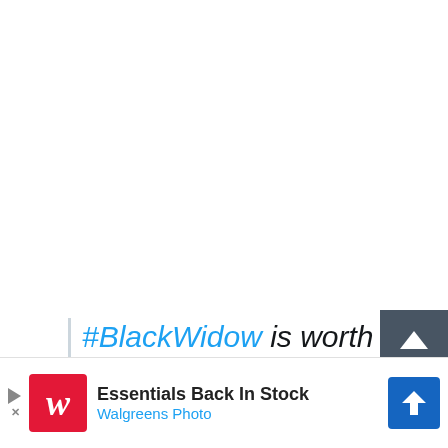#BlackWidow is worth the wait, with intense action and great
[Figure (screenshot): Advertisement banner for Walgreens Photo: 'Essentials Back In Stock' with Walgreens logo and navigation arrow]